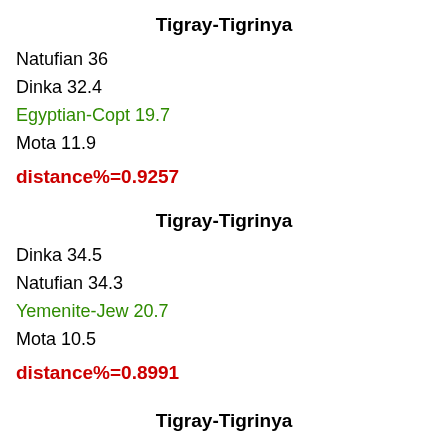Tigray-Tigrinya
Natufian 36
Dinka 32.4
Egyptian-Copt 19.7
Mota 11.9
distance%=0.9257
Tigray-Tigrinya
Dinka 34.5
Natufian 34.3
Yemenite-Jew 20.7
Mota 10.5
distance%=0.8991
Tigray-Tigrinya
Dinka 34.5